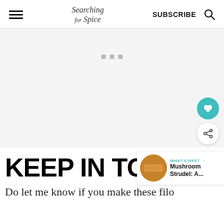Searching for Spice | SUBSCRIBE
[Figure (other): Advertisement placeholder block with three small grey dots/squares near the top center]
KEEP IN TOUCH
[Figure (other): WHAT'S NEXT banner with a circular thumbnail image of Mushroom Strudel and text 'Mushroom Strudel: A...']
Do let me know if you make these filo